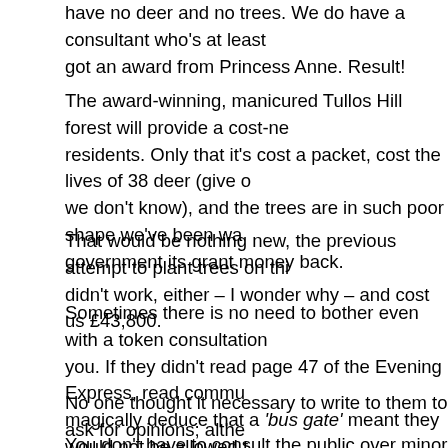have no deer and no trees. We do have a consultant who's at least got an award from Princess Anne. Result!
The award-winning, manicured Tullos Hill forest will provide a cost-neutral benefit to residents. Only that it's cost a packet, cost the lives of 38 deer (give or take, we don't know), and the trees are in such poor shape we've been wa… government its grant money back.
That would be nothing new, the previous attempt to plant trees on thi… didn't work, either – I wonder why – and cost us £43,800.
Sometimes there is no need to bother even with a token consultation… you. If they didn't read page 47 of the Evening Express, read commu… magically deduce that a 'bus gate' meant they would not be allowed t… tough luck.
No one thought it necessary to write to them to ask for opinions; alth… residents were written to about cutting down the trees (apparently 2 p… good enough for ACC).
You don't have to consult the public over minor details like the Maris…